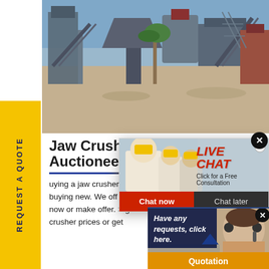[Figure (photo): Industrial jaw crusher / mining plant facility with large machinery, conveyor belts, and structures against a blue sky with palm trees]
[Figure (infographic): Yellow vertical sidebar tab with rotated text reading 'REQUEST A QUOTE' in dark navy bold uppercase letters]
Jaw Crusher Auctioneers
buying a jaw crusher is a cost efficient alternative to jaw crusher rental or buying new. We offer several ways to buy jaw crusher: live onsite auctions, buy now or make offer. Sign-in or create an account to see recent sold jaw crusher prices or get
[Figure (screenshot): Live Chat popup overlay showing workers in hard hats, 'LIVE CHAT' in red italic, 'Click for a Free Consultation', Chat now (red) and Chat later (dark) buttons, and a close X button]
[Figure (infographic): Customer service popup in dark blue with woman wearing headset, text 'Have any requests, click here.' and orange 'Quotation' button, with large X close button]